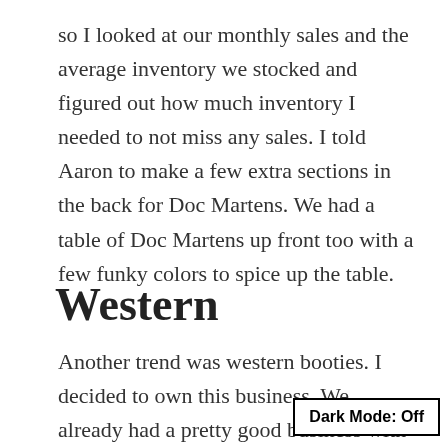so I looked at our monthly sales and the average inventory we stocked and figured out how much inventory I needed to not miss any sales. I told Aaron to make a few extra sections in the back for Doc Martens. We had a table of Doc Martens up front too with a few funky colors to spice up the table.
Western
Another trend was western booties. I decided to own this business. We already had a pretty good business with Guess and Zodiac on the tall shafted boots so I called the reps for each brand and told them I wanted a monthly fl